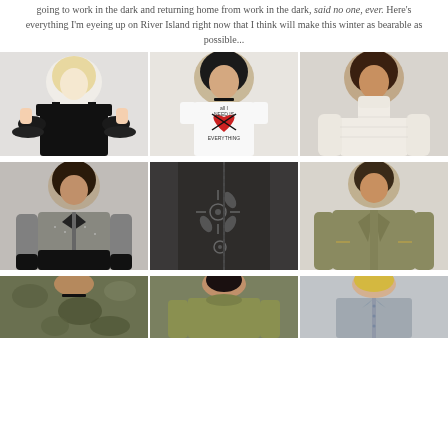going to work in the dark and returning home from work in the dark, said no one, ever. Here's everything I'm eyeing up on River Island right now that I think will make this winter as bearable as possible...
[Figure (photo): Black cold-shoulder ruffle top on model]
[Figure (photo): White graphic t-shirt with heart design reading 'all I need is everything' on model]
[Figure (photo): Cream white cable knit cold-shoulder sweater on model]
[Figure (photo): Grey metallic bomber jacket on model]
[Figure (photo): Dark grey embroidered skinny jeans close-up]
[Figure (photo): Khaki oversized jacket on model]
[Figure (photo): Camo print jacket on model]
[Figure (photo): Olive green top on model]
[Figure (photo): Denim or chambray jacket/shirt on model]